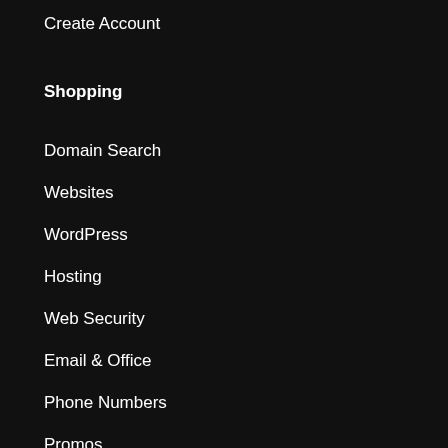Create Account
Shopping
Domain Search
Websites
WordPress
Hosting
Web Security
Email & Office
Phone Numbers
Promos